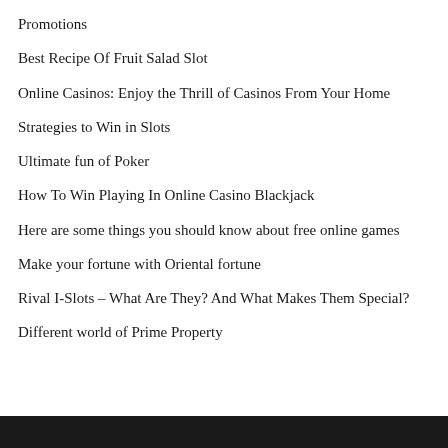Promotions
Best Recipe Of Fruit Salad Slot
Online Casinos: Enjoy the Thrill of Casinos From Your Home
Strategies to Win in Slots
Ultimate fun of Poker
How To Win Playing In Online Casino Blackjack
Here are some things you should know about free online games
Make your fortune with Oriental fortune
Rival I-Slots – What Are They? And What Makes Them Special?
Different world of Prime Property